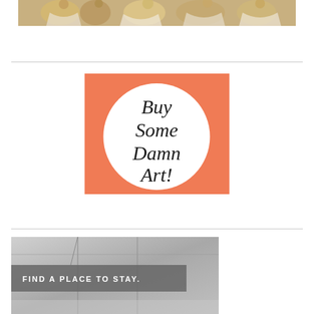[Figure (photo): Cropped photo of people in white clothing at an event, warm tones]
[Figure (illustration): Orange square badge with white circle containing cursive text 'Buy Some Damn Art!']
[Figure (photo): Greyscale photo of an interior space with a grey banner overlay reading 'FIND A PLACE TO STAY.']